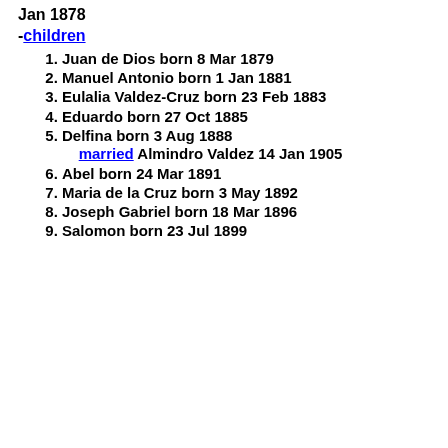Jan 1878
-children
1. Juan de Dios born 8 Mar 1879
2. Manuel Antonio born 1 Jan 1881
3. Eulalia Valdez-Cruz born 23 Feb 1883
4. Eduardo born 27 Oct 1885
5. Delfina born 3 Aug 1888 married Almindro Valdez 14 Jan 1905
6. Abel born 24 Mar 1891
7. Maria de la Cruz born 3 May 1892
8. Joseph Gabriel born 18 Mar 1896
9. Salomon born 23 Jul 1899